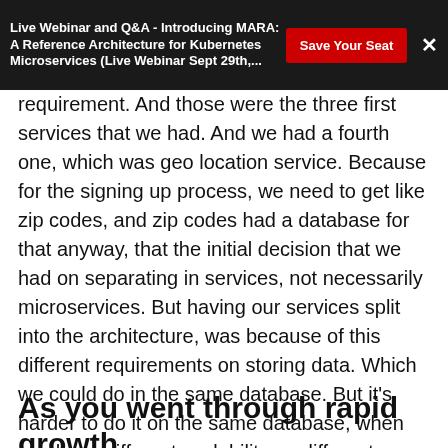Live Webinar and Q&A - Introducing MARA: A Reference Architecture for Kubernetes Microservices (Live Webinar Sept 29th,...
requirement. And those were the three first services that we had. And we had a fourth one, which was geo location service. Because for the signing up process, we need to get like zip codes, and zip codes had a database for that anyway, that the initial decision that we had on separating in services, not necessarily microservices. But having our services split into the architecture, was because of this different requirements on storing data. Which we could do in the same database. But it's harder to do it on the same database, when you have different scalability, or different encryption requirements.
As you went through rapid growth